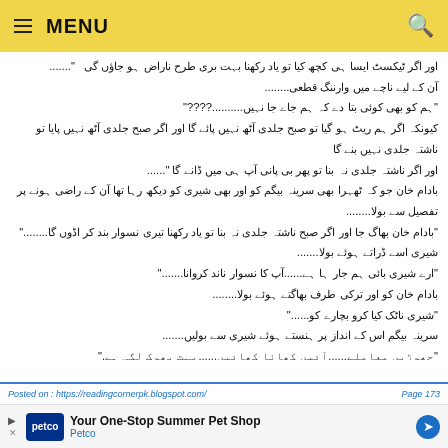MENU
اور اگر ٹیکسٹ ایسا ہی کچھ کیا تو یاد رکھنا بہت بری طرح ناراض ہو جاؤں گی ......
آن کے لیے ناچے میں وارننگ قطعی........
"ہم کو بھی کوئی بتا دے کہ ہم جاے جا نہیں..........????"
کیونکہ اگر ہم ریٹ ہو گیا تو صبح جلدی آٹھ نہیں پائے گا اور اگر صبح جلدی آٹھ نہیں پایا تو ناشتہ جلدی نہیں بنے گا
اور اگر ناشتہ جلدی نہ بنا تو پھر بی پانی آپ ہی میں ڈانے گا ......."
بادام خان جو کہ ٹھہرا بھی سرینہ بیگم کو اور بھی شیری کو دیکھ رہا تھا آن کے راضی ہونے پر تفصیل سے بولا........
"بادام خان بھاگ جا اور اگر صبح ناشتہ جلدی نہ بنا تو یاد رکھنا تیری نسوار بند کر اڈوں گا........"
شیری اسے ڈراتے ہوئے بولا.......
"ارے شیری بائی ہم جار ہا ہے......آپ کا نسوار ناند کروانا......."
بادام خان کو اور ترکی طرف بھاگتے ہوئے بولا........
"شیری ناٹک کیا کرو بچارے کو......"
سرینہ بیگم اس کے انداز پر ہنستے ہوئے شیری سے بولیں.......
"چھوڑیں معاملے......آئیں کھانا کھائیں......بہت بھوک لگی ہے."
وہ لکڑی پلیٹ ان کے سامنے کرتا ہوا بولا.......
پھر وہ دونوں باتوں کے درمیان کھانا کھانے لگے.......
Posted on : https://readingcornerpk.blogspot.com/    Page 173
Your One-Stop Summer Pet Shop Petco